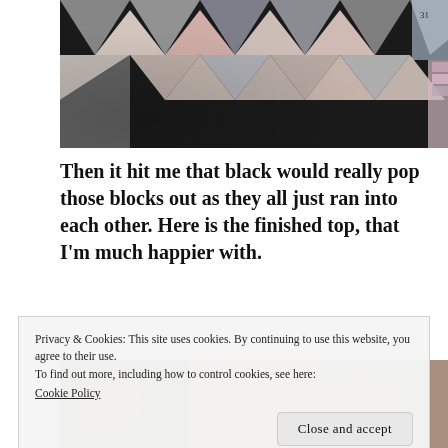[Figure (photo): Close-up photograph of a quilt top with floral and grey fabric patches arranged in a star/pinwheel pattern on a dark background.]
Then it hit me that black would really pop those blocks out as they all just ran into each other. Here is the finished top, that I'm much happier with.
[Figure (photo): Partial view of a quilt with colorful floral fabrics, partially obscured by the cookie consent banner.]
Privacy & Cookies: This site uses cookies. By continuing to use this website, you agree to their use.
To find out more, including how to control cookies, see here:
Cookie Policy
Close and accept